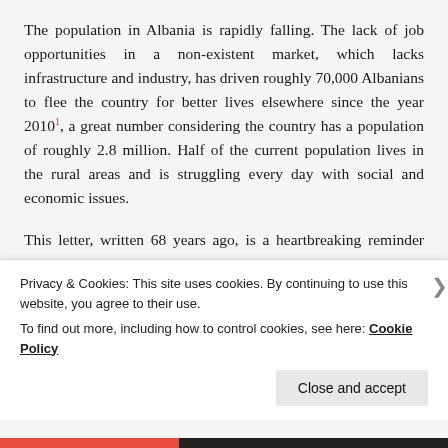The population in Albania is rapidly falling. The lack of job opportunities in a non-existent market, which lacks infrastructure and industry, has driven roughly 70,000 Albanians to flee the country for better lives elsewhere since the year 2010¹, a great number considering the country has a population of roughly 2.8 million. Half of the current population lives in the rural areas and is struggling every day with social and economic issues.
This letter, written 68 years ago, is a heartbreaking reminder and an all to real insight into what this country was during the regime compared to what it is
Privacy & Cookies: This site uses cookies. By continuing to use this website, you agree to their use.
To find out more, including how to control cookies, see here: Cookie Policy
Close and accept